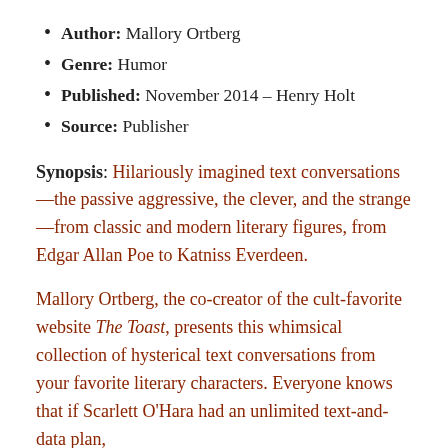Author: Mallory Ortberg
Genre: Humor
Published: November 2014 – Henry Holt
Source: Publisher
Synopsis: Hilariously imagined text conversations—the passive aggressive, the clever, and the strange—from classic and modern literary figures, from Edgar Allan Poe to Katniss Everdeen.
Mallory Ortberg, the co-creator of the cult-favorite website The Toast, presents this whimsical collection of hysterical text conversations from your favorite literary characters. Everyone knows that if Scarlett O'Hara had an unlimited text-and-data plan,